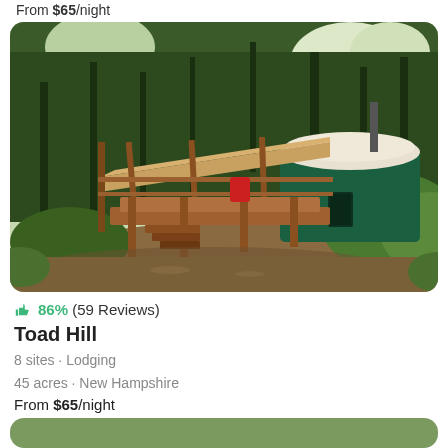From $65/night
[Figure (photo): A green yurt with wooden deck and covered porch structure surrounded by forest trees in New Hampshire]
👍 86% (59 Reviews)
Toad Hill
8 sites · Lodging
45 acres · New Hampshire
From $65/night